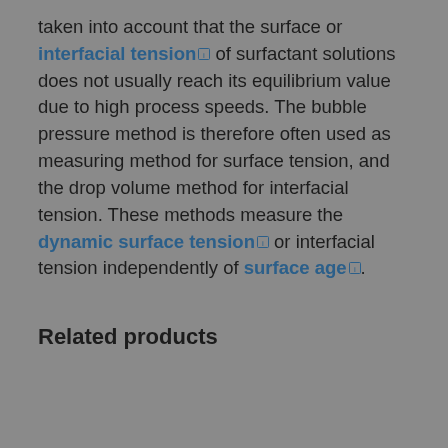taken into account that the surface or interfacial tension [icon] of surfactant solutions does not usually reach its equilibrium value due to high process speeds. The bubble pressure method is therefore often used as measuring method for surface tension, and the drop volume method for interfacial tension. These methods measure the dynamic surface tension [icon] or interfacial tension independently of surface age [icon].
Related products